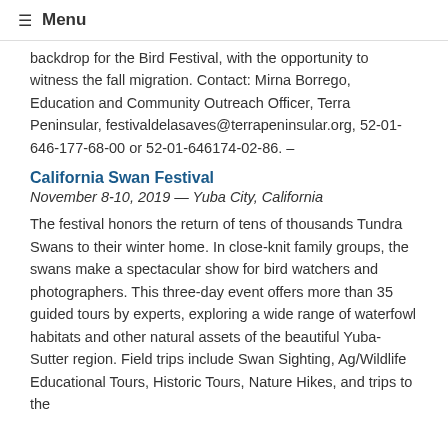≡ Menu
backdrop for the Bird Festival, with the opportunity to witness the fall migration. Contact: Mirna Borrego, Education and Community Outreach Officer, Terra Peninsular, festivaldelasaves@terrapeninsular.org, 52-01-646-177-68-00 or 52-01-646174-02-86. –
California Swan Festival
November 8-10, 2019 — Yuba City, California
The festival honors the return of tens of thousands Tundra Swans to their winter home. In close-knit family groups, the swans make a spectacular show for bird watchers and photographers. This three-day event offers more than 35 guided tours by experts, exploring a wide range of waterfowl habitats and other natural assets of the beautiful Yuba-Sutter region. Field trips include Swan Sighting, Ag/Wildlife Educational Tours, Historic Tours, Nature Hikes, and trips to the